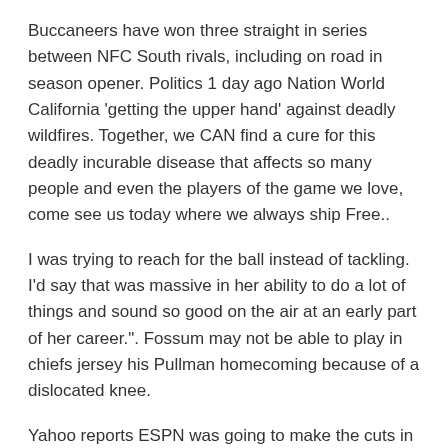Buccaneers have won three straight in series between NFC South rivals, including on road in season opener. Politics 1 day ago Nation World California 'getting the upper hand' against deadly wildfires. Together, we CAN find a cure for this deadly incurable disease that affects so many people and even the players of the game we love, come see us today where we always ship Free..
I was trying to reach for the ball instead of tackling. I'd say that was massive in her ability to do a lot of things and sound so good on the air at an early part of her career.". Fossum may not be able to play in chiefs jersey his Pullman homecoming because of a dislocated knee.
Yahoo reports ESPN was going to make the cuts in May, but moved up the schedule due to tension among employees on the media reports of the impending layoffs.After 17 years reporting on NFL, I've been informed that I'm being laid off by ESPN effective immediately.The network has spent billions of dollars in recent years on rights deals with major sports leagues like the NFL and NBA and college conferences like the ACC, Big Ten and SEC.In a note